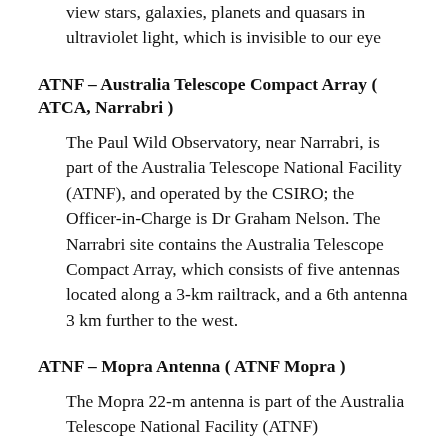view stars, galaxies, planets and quasars in ultraviolet light, which is invisible to our eye
ATNF – Australia Telescope Compact Array ( ATCA, Narrabri )
The Paul Wild Observatory, near Narrabri, is part of the Australia Telescope National Facility (ATNF), and operated by the CSIRO; the Officer-in-Charge is Dr Graham Nelson. The Narrabri site contains the Australia Telescope Compact Array, which consists of five antennas located along a 3-km railtrack, and a 6th antenna 3 km further to the west.
ATNF – Mopra Antenna ( ATNF Mopra )
The Mopra 22-m antenna is part of the Australia Telescope National Facility (ATNF)